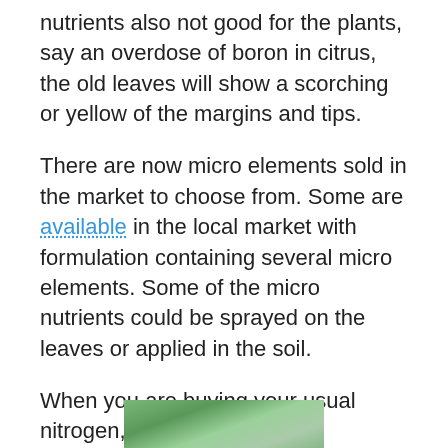nutrients also not good for the plants, say an overdose of boron in citrus, the old leaves will show a scorching or yellow of the margins and tips.
There are now micro elements sold in the market to choose from. Some are available in the local market with formulation containing several micro elements. Some of the micro nutrients could be sprayed on the leaves or applied in the soil.
When you are buying your usual nitrogen, phosphorous and potassium fertilizer, look for those, that also contain micro elements. That's usually a better buy.
[Figure (photo): Partial photo visible at the bottom of the page, appears to show green plants or foliage.]